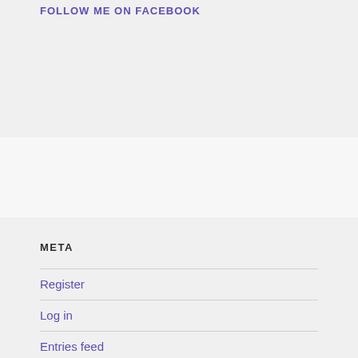FOLLOW ME ON FACEBOOK
META
Register
Log in
Entries feed
Comments feed
WordPress.com